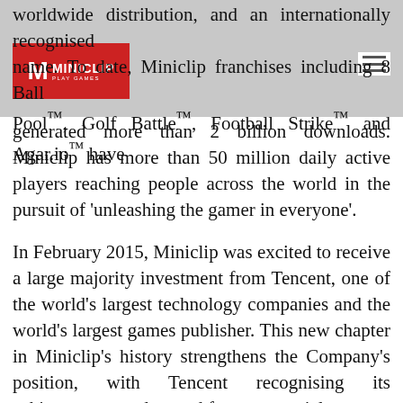[Figure (logo): Miniclip logo: red square with white M and MINICLIP PLAY GAMES text]
worldwide distribution, and an internationally recognised name. To date, Miniclip franchises including 8 Ball Pool™, Golf Battle™, Football Strike™ and Agar.io™ have generated more than 2 billion downloads. Miniclip has more than 50 million daily active players reaching people across the world in the pursuit of 'unleashing the gamer in everyone'.
In February 2015, Miniclip was excited to receive a large majority investment from Tencent, one of the world's largest technology companies and the world's largest games publisher. This new chapter in Miniclip's history strengthens the Company's position, with Tencent recognising its achievements to date and future potential.
In the past two years, as part of their ambitious growth plans, Miniclip have been delighted to welcome the